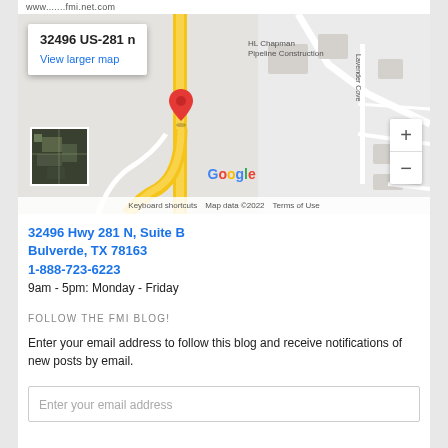www.......fmi.net.com
[Figure (map): Google Maps showing location at 32496 US-281 n, with a red location pin on the map. Info box in top-left shows address and View larger map link. Zoom controls on the right. Google branding at bottom. Satellite thumbnail in lower-left. Map footer shows Keyboard shortcuts, Map data ©2022, Terms of Use.]
32496 Hwy 281 N, Suite B
Bulverde, TX 78163
1-888-723-6223
9am - 5pm: Monday - Friday
FOLLOW THE FMI BLOG!
Enter your email address to follow this blog and receive notifications of new posts by email.
Enter your email address